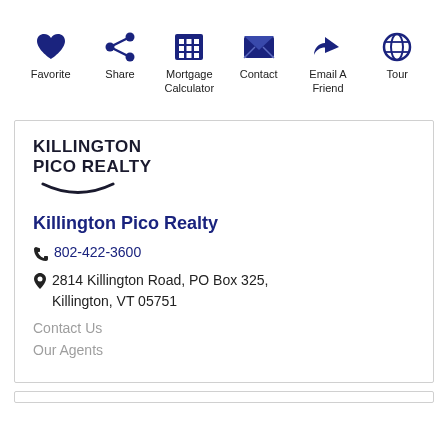[Figure (infographic): Toolbar with 6 icons: Favorite (heart), Share (share icon), Mortgage Calculator (calculator), Contact (envelope), Email A Friend (reply arrow), Tour (globe)]
[Figure (logo): Killington Pico Realty logo with bold text and swoosh underline]
Killington Pico Realty
802-422-3600
2814 Killington Road, PO Box 325, Killington, VT 05751
Contact Us
Our Agents